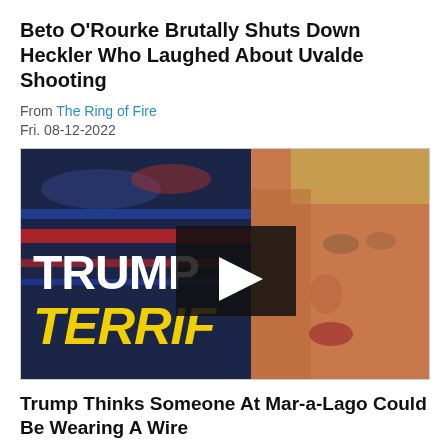Beto O'Rourke Brutally Shuts Down Heckler Who Laughed About Uvalde Shooting
From The Ring of Fire
Fri. 08-12-2022
[Figure (screenshot): Video thumbnail showing a close-up of Trump's face on the right, with text on the left reading 'TRUMP TERRIF' in white and yellow bold letters, and a dark play button overlay in the center.]
Trump Thinks Someone At Mar-a-Lago Could Be Wearing A Wire